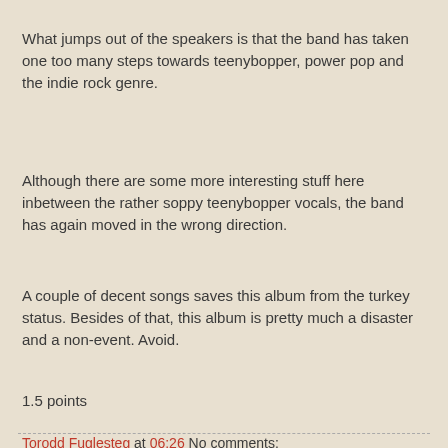What jumps out of the speakers is that the band has taken one too many steps towards teenybopper, power pop and the indie rock genre.
Although there are some more interesting stuff here inbetween the rather soppy teenybopper vocals, the band has again moved in the wrong direction.
A couple of decent songs saves this album from the turkey status. Besides of that, this album is pretty much a disaster and a non-event. Avoid.
1.5 points
Torodd Fuglesteg at 06:26    No comments:
Share